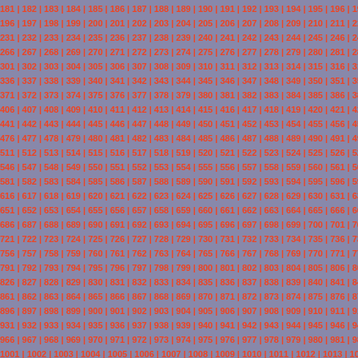Sequential number grid from 181 to ~1035+, displayed in rows of 18 numbers separated by pipe characters, on a blue-gray background with red-orange numbers